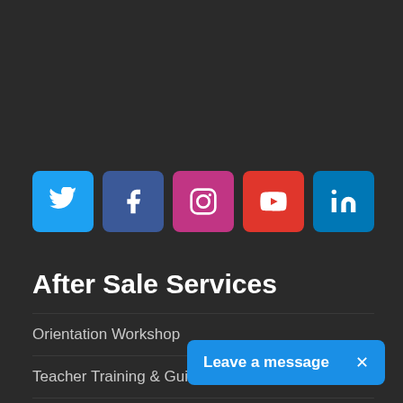[Figure (infographic): Row of social media icon buttons: Twitter (blue), Facebook (dark blue), Instagram (pink/red), YouTube (red), LinkedIn (blue)]
After Sale Services
Orientation Workshop
Teacher Training & Guides
Assessment Sheets
Parent's Awareness Workshops
Consultancy Visits
Animation Cd's